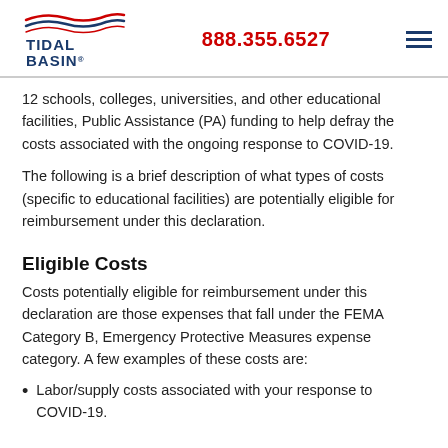Tidal Basin | 888.355.6527
12 schools, colleges, universities, and other educational facilities, Public Assistance (PA) funding to help defray the costs associated with the ongoing response to COVID-19.
The following is a brief description of what types of costs (specific to educational facilities) are potentially eligible for reimbursement under this declaration.
Eligible Costs
Costs potentially eligible for reimbursement under this declaration are those expenses that fall under the FEMA Category B, Emergency Protective Measures expense category. A few examples of these costs are:
Labor/supply costs associated with your response to COVID-19.